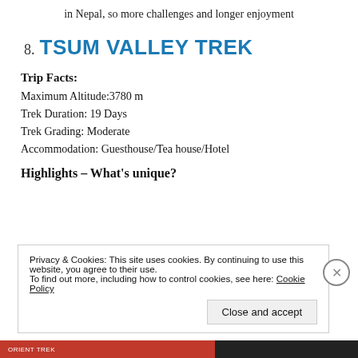in Nepal, so more challenges and longer enjoyment
8. TSUM VALLEY TREK
Trip Facts:
Maximum Altitude:3780 m
Trek Duration: 19 Days
Trek Grading: Moderate
Accommodation: Guesthouse/Tea house/Hotel
Highlights – What's unique?
Privacy & Cookies: This site uses cookies. By continuing to use this website, you agree to their use.
To find out more, including how to control cookies, see here: Cookie Policy
Close and accept